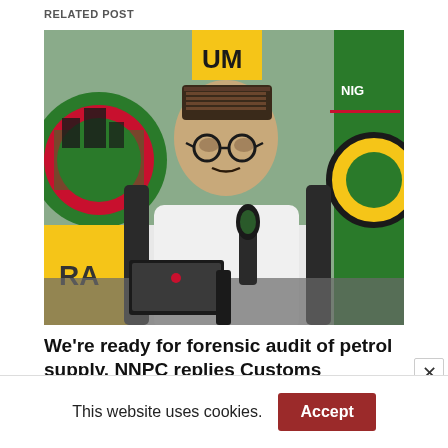RELATED POST
[Figure (photo): A man wearing a traditional embroidered cap and white outfit, seated in a chair at a desk with microphones in front of him. Behind him are logos and signage including NNPC (Nigerian National Petroleum Corporation) branding in green, red, and yellow.]
We’re ready for forensic audit of petrol supply, NNPC replies Customs
This website uses cookies.
Accept